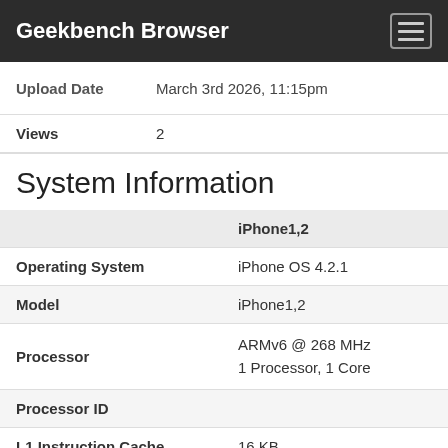Geekbench Browser
|  |  |
| --- | --- |
| Upload Date | March 3rd 2026, 11:15pm |
| Views | 2 |
System Information
|  | iPhone1,2 |
| --- | --- |
| Operating System | iPhone OS 4.2.1 |
| Model | iPhone1,2 |
| Processor | ARMv6 @ 268 MHz
1 Processor, 1 Core |
| Processor ID |  |
| L1 Instruction Cache | 16 KB |
| L1 Data Cache | 16 KB |
| L2 Cache | 0 KB |
| L3 Cache | 0 KB |